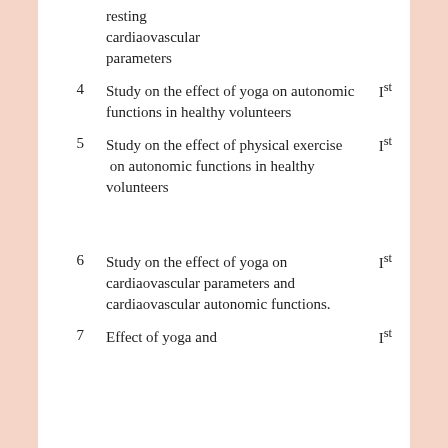resting cardiaovascular parameters
4  Study on the effect of yoga on autonomic functions in healthy volunteers  Ist
5  Study on the effect of physical exercise on autonomic functions in healthy volunteers  Ist
6  Study on the effect of yoga on cardiaovascular parameters and cardiaovascular autonomic functions.  Ist
7  Effect of yoga and  Ist